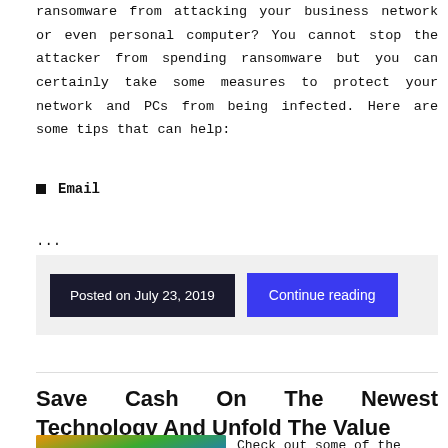ransomware from attacking your business network or even personal computer? You cannot stop the attacker from spending ransomware but you can certainly take some measures to protect your network and PCs from being infected. Here are some tips that can help:
Email
...
Posted on July 23, 2019   Continue reading
Save Cash On The Newest Technology And Unfold The Value
[Figure (photo): Close-up of smartphone apps including WhatsApp (green) and Word]
Check out some of the latest pro releases for folks